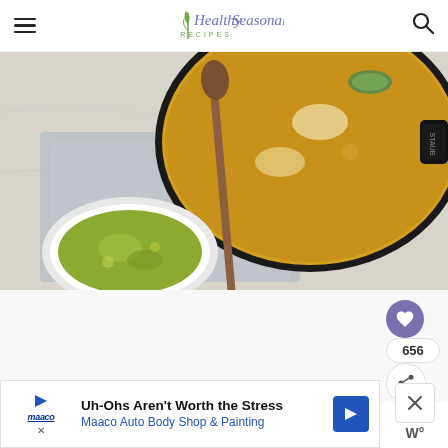Healthy Seasonal Recipes
[Figure (photo): Overhead view of a black cast iron pot (Staub) containing a yellow-golden vegetable soup with zucchini and onions, alongside a white bowl of green pesto sauce, a wooden spoon, and a gray linen napkin on a marble surface.]
[Figure (infographic): Heart/save button showing 656 saves, and a share button on the right side of the page.]
[Figure (infographic): Advertisement banner: Maaco Auto Body Shop & Painting - Uh-Ohs Aren't Worth the Stress]